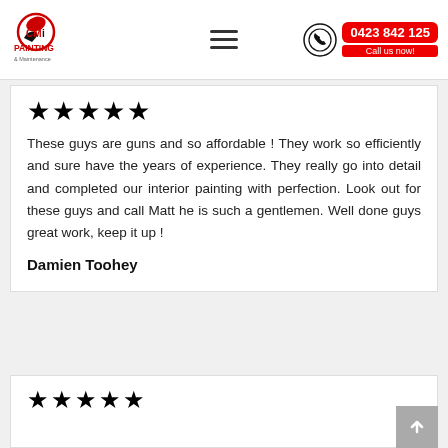[Figure (logo): CMi Painting & Maintenance logo — red and black bird/brush icon with 'CMi' text and 'PAINTING & Maintenance' below]
[Figure (illustration): Hamburger menu icon (three horizontal lines)]
[Figure (illustration): Phone icon with red badge showing '0423 842 125' and 'Call us now!' label]
[Figure (illustration): Five black stars rating]
These guys are guns and so affordable ! They work so efficiently and sure have the years of experience. They really go into detail and completed our interior painting with perfection. Look out for these guys and call Matt he is such a gentlemen. Well done guys great work, keep it up !
Damien Toohey
[Figure (illustration): Five black stars rating (second review, partially visible)]